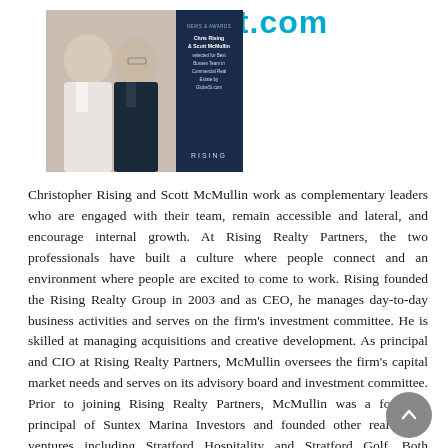GlobeSt.com
[Figure (photo): Composite image showing two professional men (Christopher Rising and Scott McMullin) on the left side, and a dark navy award announcement card on the right reading 'NEWS & AWARDS: Chris Rising & Scott McMullin selected for Best Bosses Team in Commercial Real Estate by GlobeSt.com' with 'RISING' logo at the bottom.]
Christopher Rising and Scott McMullin work as complementary leaders who are engaged with their team, remain accessible and lateral, and encourage internal growth. At Rising Realty Partners, the two professionals have built a culture where people connect and an environment where people are excited to come to work. Rising founded the Rising Realty Group in 2003 and as CEO, he manages day-to-day business activities and serves on the firm's investment committee. He is skilled at managing acquisitions and creative development. As principal and CIO at Rising Realty Partners, McMullin oversees the firm's capital market needs and serves on its advisory board and investment committee. Prior to joining Rising Realty Partners, McMullin was a founding principal of Suntex Marina Investors and founded other real estate ventures including Stratford Hospitality and Stratford Golf. Both professionals hold more than 20 years of industry experience. As